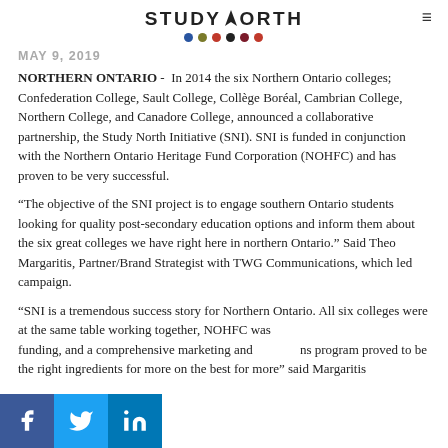STUDY NORTH (logo with flame icon and colored dots)
MAY 9, 2019
NORTHERN ONTARIO -  In 2014 the six Northern Ontario colleges; Confederation College, Sault College, Collège Boréal, Cambrian College, Northern College, and Canadore College, announced a collaborative partnership, the Study North Initiative (SNI). SNI is funded in conjunction with the Northern Ontario Heritage Fund Corporation (NOHFC) and has proven to be very successful.
“The objective of the SNI project is to engage southern Ontario students looking for quality post-secondary education options and inform them about the six great colleges we have right here in northern Ontario.” Said Theo Margaritis, Partner/Brand Strategist with TWG Communications, which led campaign.
“SNI is a tremendous success story for Northern Ontario. All six colleges were at the same table working together, NOHFC was providing funding, and a comprehensive marketing and communications program proved to be the right ingredients for success on the best for more” said Margaritis...